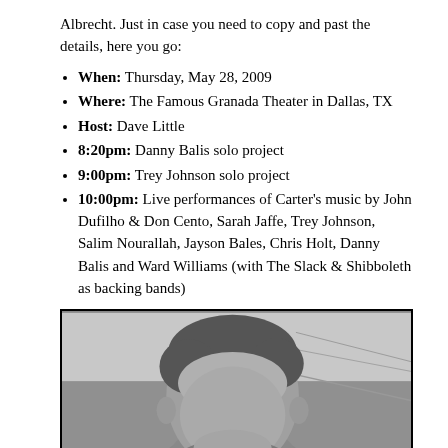Albrecht. Just in case you need to copy and past the details, here you go:
When: Thursday, May 28, 2009
Where: The Famous Granada Theater in Dallas, TX
Host: Dave Little
8:20pm: Danny Balis solo project
9:00pm: Trey Johnson solo project
10:00pm: Live performances of Carter's music by John Dufilho & Don Cento, Sarah Jaffe, Trey Johnson, Salim Nourallah, Jayson Bales, Chris Holt, Danny Balis and Ward Williams (with The Slack & Shibboleth as backing bands)
[Figure (photo): Black and white photo of a man's head and upper shoulders, with trees or outdoor background visible]